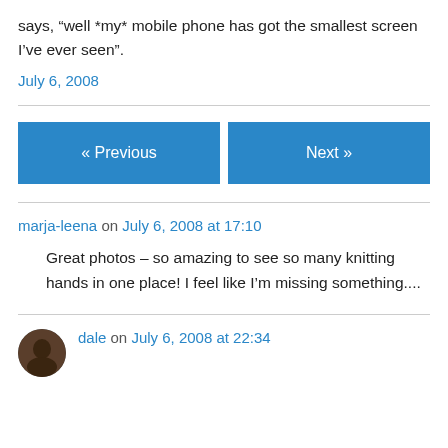says, “well *my* mobile phone has got the smallest screen I’ve ever seen”.
July 6, 2008
« Previous
Next »
marja-leena on July 6, 2008 at 17:10
Great photos – so amazing to see so many knitting hands in one place! I feel like I’m missing something....
dale on July 6, 2008 at 22:34
[Figure (photo): Avatar photo of user dale, a dark-skinned person]